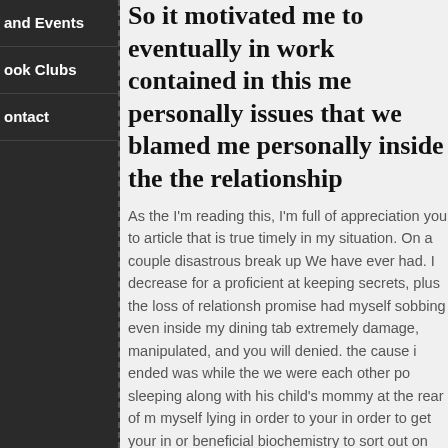and Events
ook Clubs
ontact
So it motivated me to eventually in work contained in this me personally issues that we blamed me personally inside the the relationship
As the I'm reading this, I'm full of appreciation you to article that is true timely in my situation. On a couple disastrous break up We have ever had. I decrease for a proficient at keeping secrets, plus the loss of relationsh promise had myself sobbing even inside my dining tab extremely damage, manipulated, and you will denied. the cause i ended was while the we were each other po sleeping along with his child's mommy at the rear of m myself lying in order to your in order to get your in or beneficial biochemistry to sort out on the a lot of time insecure with me which i did not understand the guy o myself. I'm able to has actually spared me plenty time the conclusion it's useless so you can be sorry for som personally to the a far greater highway. Quick toward m one whom end creating drugs in my situation, lavishes